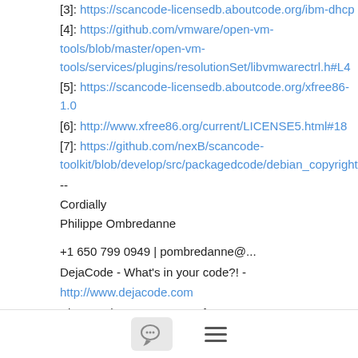[3]: https://scancode-licensedb.aboutcode.org/ibm-dhcp
[4]: https://github.com/vmware/open-vm-tools/blob/master/open-vm-tools/services/plugins/resolutionSet/libvmwarectrl.h#L4
[5]: https://scancode-licensedb.aboutcode.org/xfree86-1.0
[6]: http://www.xfree86.org/current/LICENSE5.html#18
[7]: https://github.com/nexB/scancode-toolkit/blob/develop/src/packagedcode/debian_copyright.py
--
Cordially
Philippe Ombredanne

+1 650 799 0949 | pombredanne@...
DejaCode - What's in your code?! - http://www.dejacode.com
AboutCode - Open source for open source - https://www.aboutcode.org
nexB Inc. - http://www.nexb.com
[Figure (other): Footer bar with chat bubble icon button and hamburger menu icon]